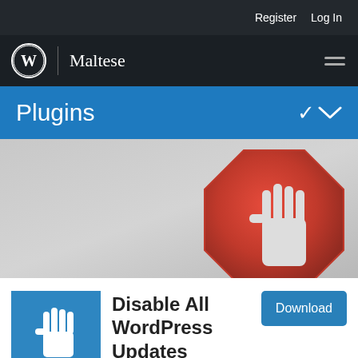Register   Log In
[Figure (logo): WordPress logo circle with W mark and Maltese site title nav bar with hamburger menu]
Plugins
[Figure (illustration): Red octagon stop-sign style icon with a raised white hand palm, on grey gradient background]
[Figure (logo): Blue square plugin icon with white hand/stop symbol]
Disable All WordPress Updates
Download